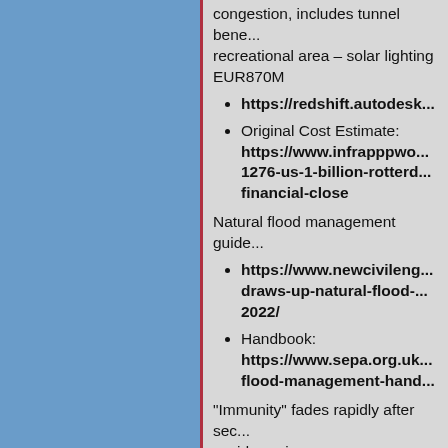congestion, includes tunnel bene... recreational area – solar lighting EUR870M
https://redshift.autodesk...
Original Cost Estimate: https://www.infrapppwo... 1276-us-1-billion-rotterd... financial-close
Natural flood management guide
https://www.newcivileng... draws-up-natural-flood-... 2022/
Handbook: https://www.sepa.org.uk... flood-management-hand...
“Immunity” fades rapidly after sec... covid vaccines